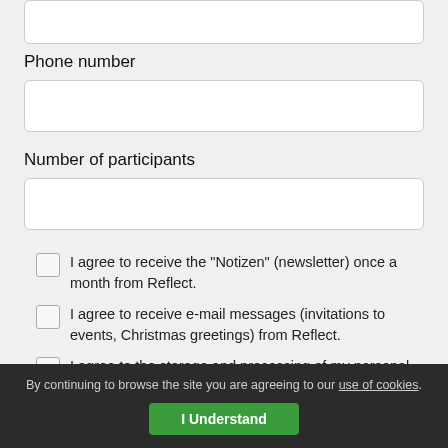[partial input field at top]
Phone number
[Phone number input field]
Number of participants
[Number of participants input field]
I agree to receive the "Notizen" (newsletter) once a month from Reflect.
I agree to receive e-mail messages (invitations to events, Christmas greetings) from Reflect.
I agree to the storage and processing of my personal data
By continuing to browse the site you are agreeing to our use of cookies. I Understand